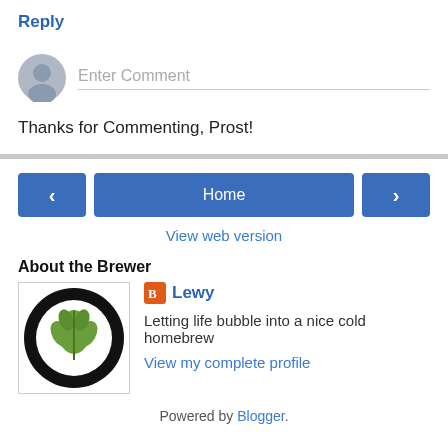Reply
[Figure (illustration): Gray user avatar circle icon next to Enter Comment text input field with bottom border]
Thanks for Commenting, Prost!
[Figure (infographic): Navigation buttons row: left arrow button, Home button, right arrow button]
View web version
About the Brewer
[Figure (logo): Circular logo with hop plant leaf illustration in black and green on white background]
Lewy
Letting life bubble into a nice cold homebrew
View my complete profile
Powered by Blogger.